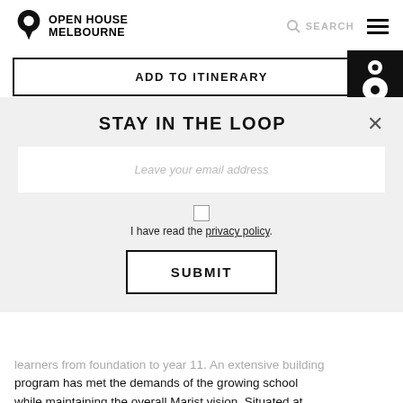OPEN HOUSE MELBOURNE | SEARCH
ADD TO ITINERARY
STAY IN THE LOOP
Leave your email address
I have read the privacy policy.
SUBMIT
learners from foundation to year 11. An extensive building program has met the demands of the growing school while maintaining the overall Marist vision. Situated at